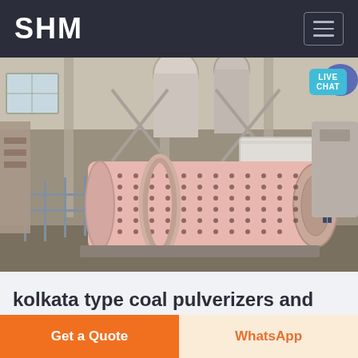SHM
[Figure (photo): Industrial ball mill / coal pulverizer machine in a factory setting. A large pink cylindrical drum with bolted flanges sits on a platform with metal railings. White pipes and structural framework visible in background. A worker in blue is visible at right.]
kolkata type coal pulverizers and coal feeders
To manufacturers have been among one of the
Get a Quote
WhatsApp